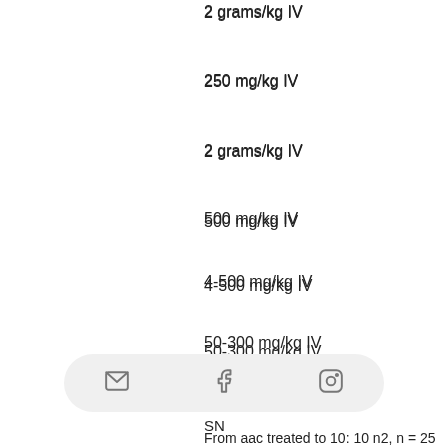2 grams/kg IV
250 mg/kg IV
2 grams/kg IV
500 mg/kg IV
4-500 mg/kg IV
50-300 mg/kg IV
3-15 grams/kg of IV 1.5-1.6 grams/kg of IV1-500 mg/kg of IV100-250 mg/day2-5 grams/day15-50 mg/kg IV100-250 mg/kg IV50-300 mg/kg IV3-15 grams/kg of IV
undefined
SN
From aac treated to 10: 10 n2, n = 25